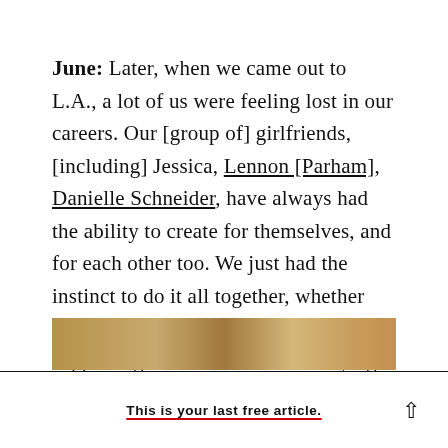June: Later, when we came out to L.A., a lot of us were feeling lost in our careers. Our [group of] girlfriends, [including] Jessica, Lennon [Parham], Danielle Schneider, have always had the ability to create for themselves, and for each other too. We just had the instinct to do it all together, whether that was working together or supporting each other. We were vying for the same jobs—still are.
[Figure (photo): Partial photo strip showing a warm-toned image at the bottom of the page, cropped at the bottom edge.]
This is your last free article.